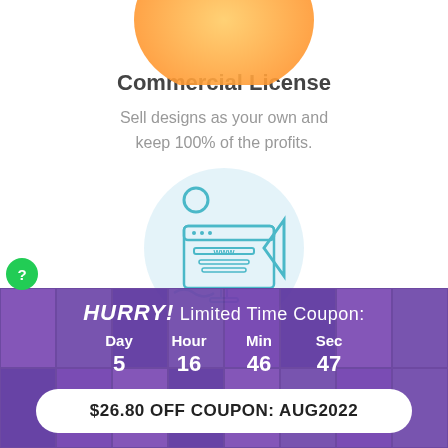[Figure (illustration): Orange gradient blob/circle at top of page, partially cropped]
Commercial License
Sell designs as your own and keep 100% of the profits.
[Figure (illustration): Light blue circular background with a teal www browser/monitor icon, a teal circle outline, a teal triangle outline, and a teal wavy line decoration]
HURRY! Limited Time Coupon:
| Day | Hour | Min | Sec |
| --- | --- | --- | --- |
| 5 | 16 | 46 | 47 |
$26.80 OFF COUPON: AUG2022